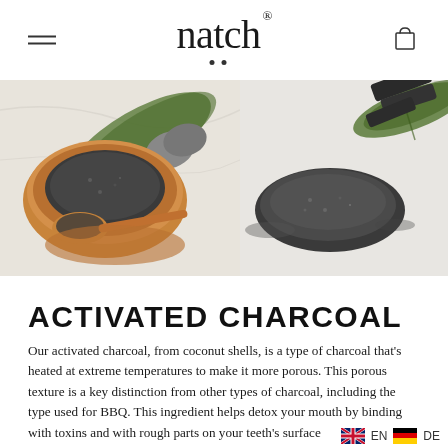natch® (logo with hamburger menu and cart icon)
[Figure (photo): Two photos side by side: left shows activated charcoal powder in a wooden bowl with a wooden spoon and green leaves on a marble surface; right shows a pile of activated charcoal powder with charcoal sticks and a green leaf on a white background.]
ACTIVATED CHARCOAL
Our activated charcoal, from coconut shells, is a type of charcoal that's heated at extreme temperatures to make it more porous. This porous texture is a key distinction from other types of charcoal, including the type used for BBQ. This ingredient helps detox your mouth by binding with toxins and with rough parts on your teeth's surface